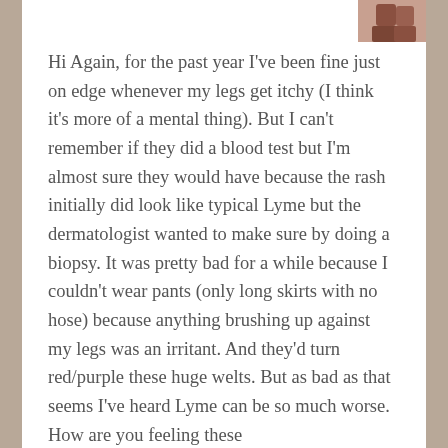[Figure (photo): Small avatar/profile photo of a person, positioned top right of content area]
Hi Again, for the past year I've been fine just on edge whenever my legs get itchy (I think it's more of a mental thing). But I can't remember if they did a blood test but I'm almost sure they would have because the rash initially did look like typical Lyme but the dermatologist wanted to make sure by doing a biopsy. It was pretty bad for a while because I couldn't wear pants (only long skirts with no hose) because anything brushing up against my legs was an irritant. And they'd turn red/purple these huge welts. But as bad as that seems I've heard Lyme can be so much worse. How are you feeling these
Advertisements
[Figure (screenshot): WooCommerce advertisement banner with purple background, teal arrow, and text 'How to start selling subscriptions online']